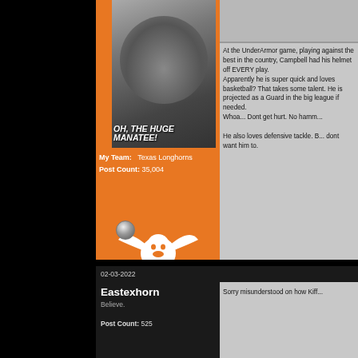[Figure (screenshot): Forum post screenshot with two user posts. First user has orange panel with manatee image and Texas Longhorns branding. Second user is Eastexhorn with dark panel.]
OH, THE HUGE MANATEE!
My Team: Texas Longhorns
Post Count: 35,004
At the UnderArmor game, playing against the best in the country, Campbell had his helmet off EVERY play.
Apparently he is super quick and loves basketball? That takes some talent. He is projected as a Guard in the big league if needed.
Whoa... Dont get hurt. No hamm...

He also loves defensive tackle. B... dont want him to.
02-03-2022
Eastexhorn
Believe.
Post Count: 525
Sorry misunderstood on how Kiff...